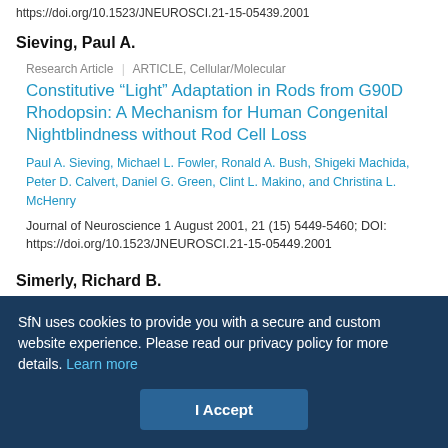https://doi.org/10.1523/JNEUROSCI.21-15-05439.2001
Sieving, Paul A.
Research Article | ARTICLE, Cellular/Molecular
Constitutive “Light” Adaptation in Rods from G90D Rhodopsin: A Mechanism for Human Congenital Nightblindness without Rod Cell Loss
Paul A. Sieving, Michael L. Fowler, Ronald A. Bush, Shigeki Machida, Peter D. Calvert, Daniel G. Green, Clint L. Makino, and Christina L. McHenry
Journal of Neuroscience 1 August 2001, 21 (15) 5449-5460; DOI: https://doi.org/10.1523/JNEUROSCI.21-15-05449.2001
Simerly, Richard B.
SfN uses cookies to provide you with a secure and custom website experience. Please read our privacy policy for more details. Learn more
I Accept